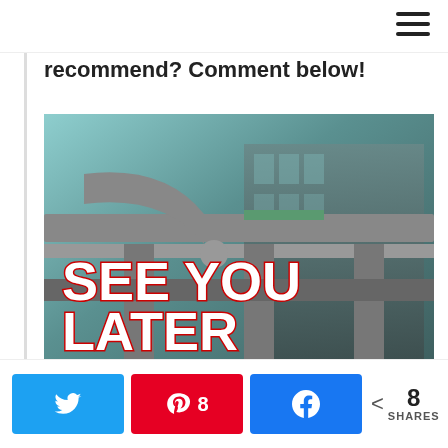recommend? Comment below!
[Figure (photo): Photo of Bangkok elevated rail/highway infrastructure with concrete pillars and overpasses, overlaid with bold text reading SEE YOU LATER BANGKOK!]
N  (Twitter share button)
A 8 (Pinterest share button with count 8)
k (Facebook share button)
< 8 SHARES